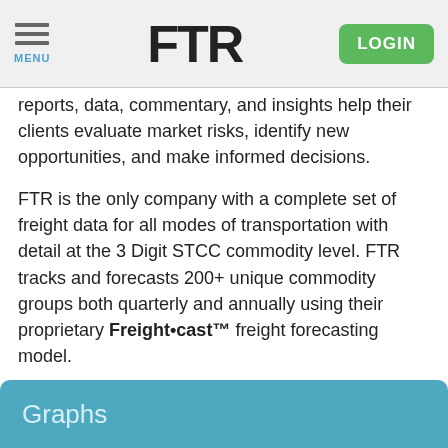FTR — MENU | LOGIN
reports, data, commentary, and insights help their clients evaluate market risks, identify new opportunities, and make informed decisions.
FTR is the only company with a complete set of freight data for all modes of transportation with detail at the 3 Digit STCC commodity level. FTR tracks and forecasts 200+ unique commodity groups both quarterly and annually using their proprietary Freight•cast™ freight forecasting model.
To learn more about FTR visit www.FTRintel.com, Follow us on twitter @FTRintel and connect with us on LinkedIn. To contact FTR, call 888-988-1699 or email info@ftrintel.com
Graphs